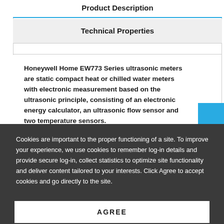Product Description
Technical Properties
Honeywell Home EW773 Series ultrasonic meters are static compact heat or chilled water meters with electronic measurement based on the ultrasonic principle, consisting of an electronic energy calculator, an ultrasonic flow sensor and two temperature sensors.
Cookies are important to the proper functioning of a site. To improve your experience, we use cookies to remember log-in details and provide secure log-in, collect statistics to optimize site functionality and deliver content tailored to your interests. Click Agree to accept cookies and go directly to the site.
AGREE